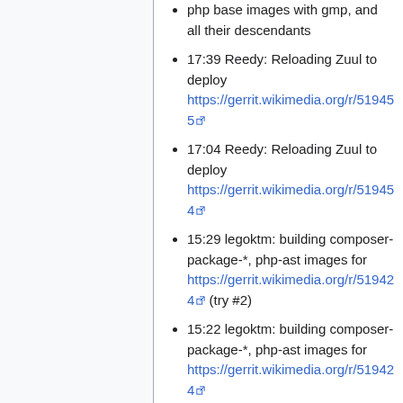php base images with gmp, and all their descendants
17:39 Reedy: Reloading Zuul to deploy https://gerrit.wikimedia.org/r/519455
17:04 Reedy: Reloading Zuul to deploy https://gerrit.wikimedia.org/r/519454
15:29 legoktm: building composer-package-*, php-ast images for https://gerrit.wikimedia.org/r/519424 (try #2)
15:22 legoktm: building composer-package-*, php-ast images for https://gerrit.wikimedia.org/r/519424
2019-06-26